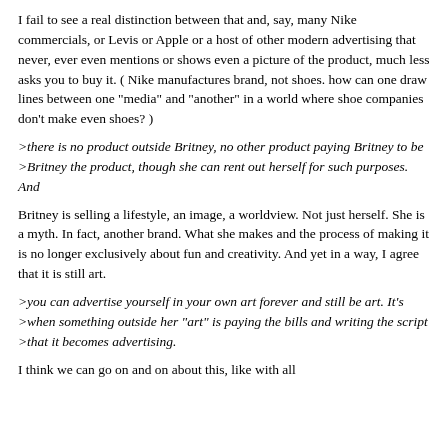I fail to see a real distinction between that and, say, many Nike commercials, or Levis or Apple or a host of other modern advertising that never, ever even mentions or shows even a picture of the product, much less asks you to buy it. ( Nike manufactures brand, not shoes. how can one draw lines between one "media" and "another" in a world where shoe companies don't make even shoes? )
>there is no product outside Britney, no other product paying Britney to be
>Britney the product, though she can rent out herself for such purposes. And
Britney is selling a lifestyle, an image, a worldview. Not just herself. She is a myth. In fact, another brand. What she makes and the process of making it is no longer exclusively about fun and creativity. And yet in a way, I agree that it is still art.
>you can advertise yourself in your own art forever and still be art. It's
>when something outside her "art" is paying the bills and writing the script
>that it becomes advertising.
I think we can go on and on about this, like with all